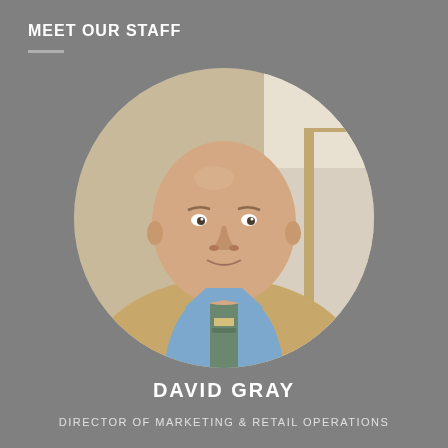MEET OUR STAFF
[Figure (photo): Circular portrait photo of David Gray, a bald man wearing a tan/beige blazer, blue dress shirt, and a patterned tie, photographed in an office or hallway setting.]
DAVID GRAY
DIRECTOR OF MARKETING & RETAIL OPERATIONS